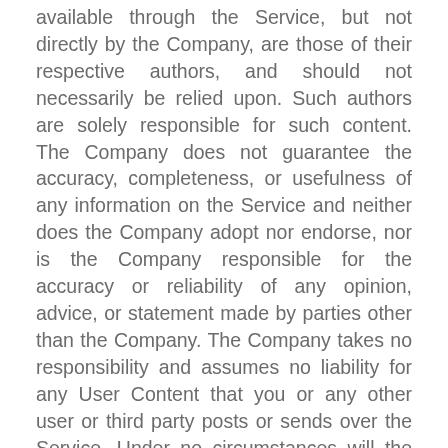available through the Service, but not directly by the Company, are those of their respective authors, and should not necessarily be relied upon. Such authors are solely responsible for such content. The Company does not guarantee the accuracy, completeness, or usefulness of any information on the Service and neither does the Company adopt nor endorse, nor is the Company responsible for the accuracy or reliability of any opinion, advice, or statement made by parties other than the Company. The Company takes no responsibility and assumes no liability for any User Content that you or any other user or third party posts or sends over the Service. Under no circumstances will the Company be responsible for any loss or damage resulting from anyone's reliance on information or other content posted on the Service, or transmitted to users.